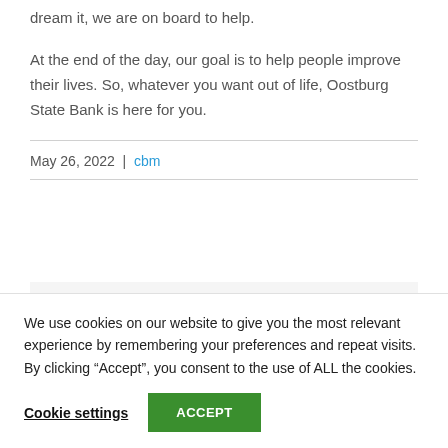dream it, we are on board to help.
At the end of the day, our goal is to help people improve their lives. So, whatever you want out of life, Oostburg State Bank is here for you.
May 26, 2022 | cbm
Share This Story, Choose Your Platform!
We use cookies on our website to give you the most relevant experience by remembering your preferences and repeat visits. By clicking “Accept”, you consent to the use of ALL the cookies.
Cookie settings  ACCEPT